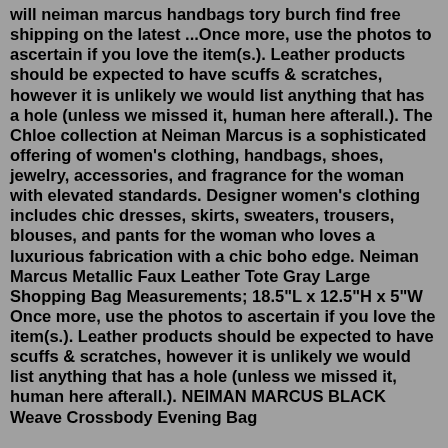will neiman marcus handbags tory burch find free shipping on the latest ...Once more, use the photos to ascertain if you love the item(s.). Leather products should be expected to have scuffs & scratches, however it is unlikely we would list anything that has a hole (unless we missed it, human here afterall.). The Chloe collection at Neiman Marcus is a sophisticated offering of women's clothing, handbags, shoes, jewelry, accessories, and fragrance for the woman with elevated standards. Designer women's clothing includes chic dresses, skirts, sweaters, trousers, blouses, and pants for the woman who loves a luxurious fabrication with a chic boho edge. Neiman Marcus Metallic Faux Leather Tote Gray Large Shopping Bag Measurements; 18.5"L x 12.5"H x 5"W Once more, use the photos to ascertain if you love the item(s.). Leather products should be expected to have scuffs & scratches, however it is unlikely we would list anything that has a hole (unless we missed it, human here afterall.). NEIMAN MARCUS BLACK Weave Crossbody Evening Bag